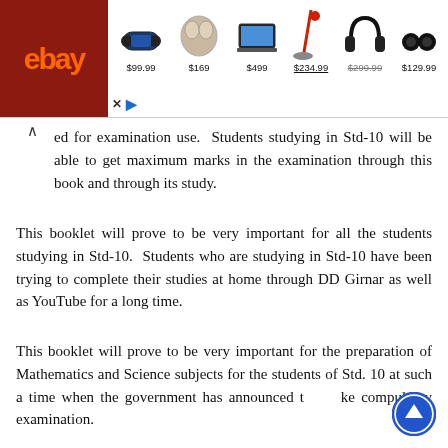[Figure (screenshot): eBay advertisement banner showing products: Bluetooth speaker $99.99, earbuds $169, laptop $499, vacuum/stick cleaner $234.99, headphones (price obscured), earbuds $129.99. eBay logo on red background on the left.]
ed for examination use.  Students studying in Std-10 will be able to get maximum marks in the examination through this book and through its study.
This booklet will prove to be very important for all the students studying in Std-10.  Students who are studying in Std-10 have been trying to complete their studies at home through DD Girnar as well as YouTube for a long time.
This booklet will prove to be very important for the preparation of Mathematics and Science subjects for the students of Std. 10 at such a time when the government has announced to make compulsory examination.